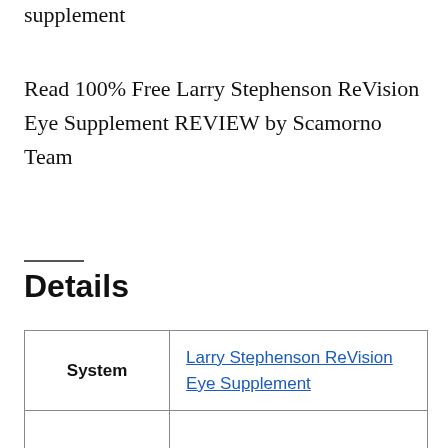supplement
Read 100% Free Larry Stephenson ReVision Eye Supplement REVIEW by Scamorno Team
Details
| System |  |
| --- | --- |
| System | Larry Stephenson ReVision Eye Supplement |
|  |  |